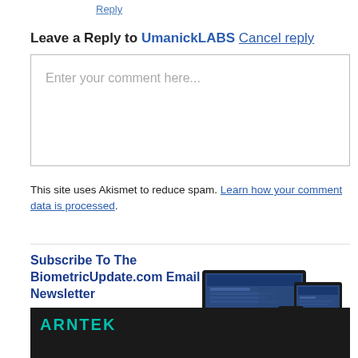Reply
Leave a Reply to UmanickLABS Cancel reply
[Figure (screenshot): Comment text input box with placeholder text 'Enter your comment here...']
This site uses Akismet to reduce spam. Learn how your comment data is processed.
[Figure (infographic): Subscribe To The BiometricUpdate.com Email Newsletter banner with devices image and LEARN MORE button]
[Figure (screenshot): Bottom advertisement banner with ARNTEK logo on dark background]